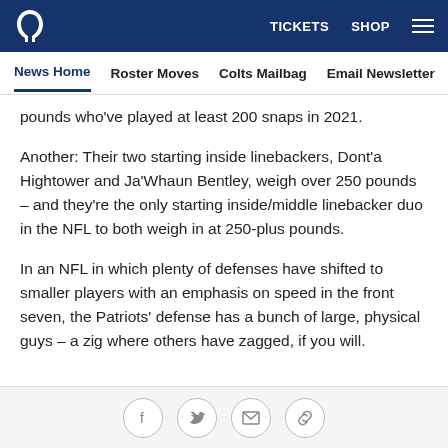TICKETS   SHOP
News Home   Roster Moves   Colts Mailbag   Email Newsletter   U
pounds who've played at least 200 snaps in 2021.
Another: Their two starting inside linebackers, Dont'a Hightower and Ja'Whaun Bentley, weigh over 250 pounds – and they're the only starting inside/middle linebacker duo in the NFL to both weigh in at 250-plus pounds.
In an NFL in which plenty of defenses have shifted to smaller players with an emphasis on speed in the front seven, the Patriots' defense has a bunch of large, physical guys – a zig where others have zagged, if you will.
[Figure (other): Social media share icons: Facebook, Twitter, Email, Link]